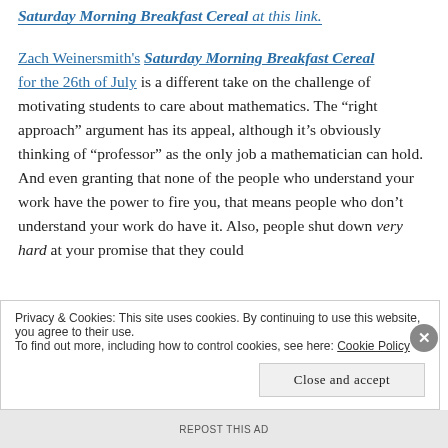Saturday Morning Breakfast Cereal at this link.
Zach Weinersmith's Saturday Morning Breakfast Cereal for the 26th of July is a different take on the challenge of motivating students to care about mathematics. The "right approach" argument has its appeal, although it's obviously thinking of "professor" as the only job a mathematician can hold. And even granting that none of the people who understand your work have the power to fire you, that means people who don't understand your work do have it. Also, people shut down very hard at your promise that they could
Privacy & Cookies: This site uses cookies. By continuing to use this website, you agree to their use. To find out more, including how to control cookies, see here: Cookie Policy
Close and accept
REPOST THIS AD